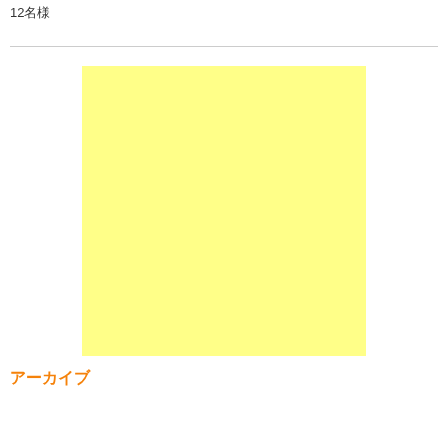12名様
[Figure (other): Large yellow rectangle placeholder image]
アーカイブ